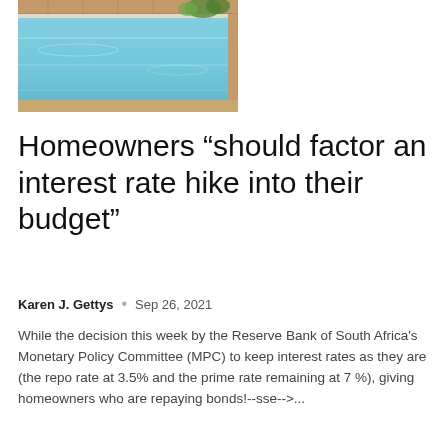[Figure (photo): Photo of a swimming pool with blue water, surrounded by a wooden deck and some greenery in the background.]
Homeowners “should factor an interest rate hike into their budget”
Karen J. Gettys • Sep 26, 2021
While the decision this week by the Reserve Bank of South Africa’s Monetary Policy Committee (MPC) to keep interest rates as they are (the repo rate at 3.5% and the prime rate remaining at 7 %), giving homeowners who are repaying bonds!--sse-->...